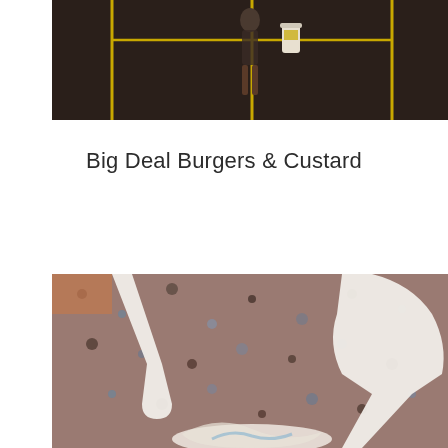[Figure (photo): A person standing in a parking lot with yellow lines on a dark asphalt surface. A white cylindrical container is visible near the person.]
Big Deal Burgers & Custard
[Figure (photo): Close-up of white plastic utensils (spoons/forks) on a speckled granite or stone surface with some white creamy substance visible.]